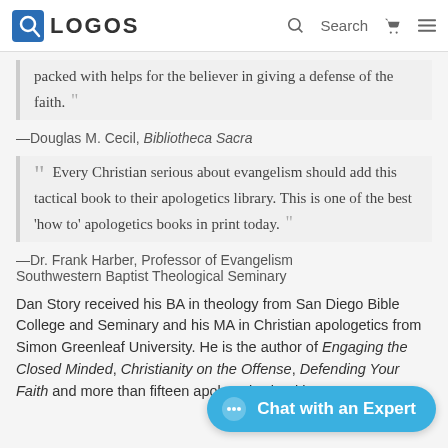LOGOS
packed with helps for the believer in giving a defense of the faith. "
—Douglas M. Cecil, Bibliotheca Sacra
" Every Christian serious about evangelism should add this tactical book to their apologetics library. This is one of the best 'how to' apologetics books in print today. "
—Dr. Frank Harber, Professor of Evangelism Southwestern Baptist Theological Seminary
Dan Story received his BA in theology from San Diego Bible College and Seminary and his MA in Christian apologetics from Simon Greenleaf University. He is the author of Engaging the Closed Minded, Christianity on the Offense, Defending Your Faith and more than fifteen apologetics booklets.